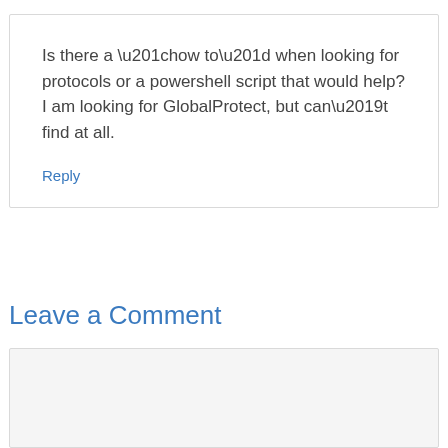Is there a “how to” when looking for protocols or a powershell script that would help? I am looking for GlobalProtect, but can’t find at all.
Reply
Leave a Comment